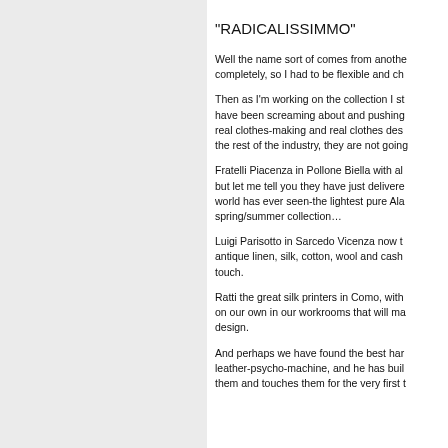"RADICALISSIMMO"
Well the name sort of comes from another completely, so I had to be flexible and ch...
Then as I'm working on the collection I st... have been screaming about and pushing... real clothes-making and real clothes des... the rest of the industry, they are not going...
Fratelli Piacenza in Pollone Biella with al... but let me tell you they have just delivere... world has ever seen-the lightest pure Ala... spring/summer collection…
Luigi Parisotto in Sarcedo Vicenza now t... antique linen, silk, cotton, wool and cash... touch.
Ratti the great silk printers in Como, with... on our own in our workrooms that will ma... design.
And perhaps we have found the best har... leather-psycho-machine, and he has bui... them and touches them for the very first t...